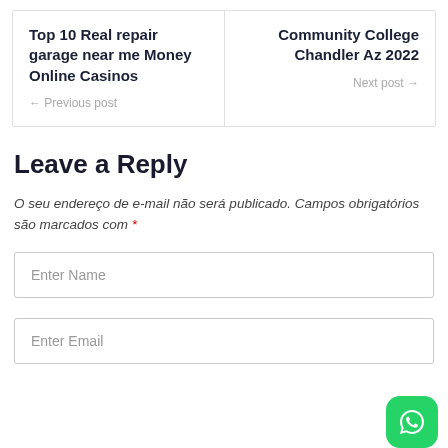Top 10 Real repair garage near me Money Online Casinos ← Previous post
Community College Chandler Az 2022 Next post →
Leave a Reply
O seu endereço de e-mail não será publicado. Campos obrigatórios são marcados com *
Enter Name
Enter Email